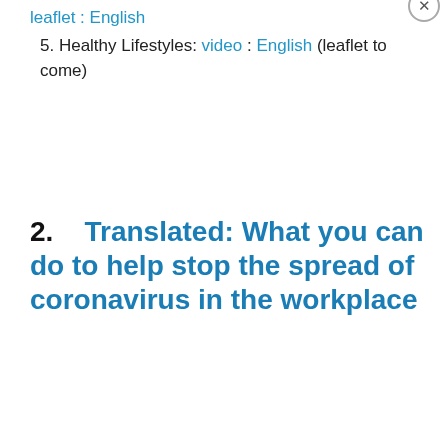leaflet : English
5. Healthy Lifestyles: video : English (leaflet to come)
2.    Translated: What you can do to help stop the spread of coronavirus in the workplace
Privacy & Cookies: This site uses cookies. By continuing to use this website, you agree to their use.
To find out more, including how to control cookies, see here: Cookie Policy
Close and accept